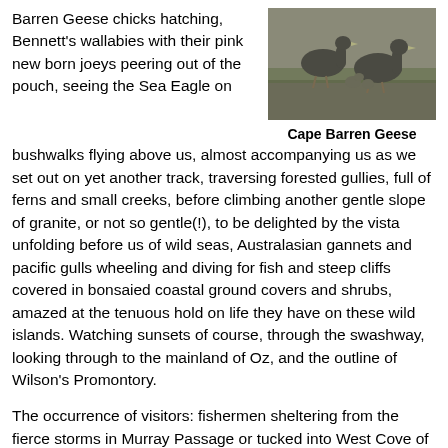Barren Geese chicks hatching, Bennett's wallabies with their pink new born joeys peering out of the pouch, seeing the Sea Eagle on bushwalks flying above us, almost accompanying us as we set out on yet another track, traversing forested gullies, full of ferns and small creeks, before climbing another gentle slope of granite, or not so gentle(!), to be delighted by the vista unfolding before us of wild seas, Australasian gannets and pacific gulls wheeling and diving for fish and steep cliffs covered in bonsaied coastal ground covers and shrubs, amazed at the tenuous hold on life they have on these wild islands. Watching sunsets of course, through the swashway, looking through to the mainland of Oz, and the outline of Wilson's Promontory.
[Figure (photo): Photo of Cape Barren Geese — two large grey birds with chicks on a path]
Cape Barren Geese
The occurrence of visitors: fishermen sheltering from the fierce storms in Murray Passage or tucked into West Cove of Erith Island; the AMC vessel, Bluefin, called in twice with relieved students who were happy to get off the boat and have a quick guided tour of the museum or Barn Hill before returning to the ship and their marine studies. A yacht called in from Eden for the night and invited us to join them for dinner onboard – a night out! It was great, someone else's cooking, fine wine and good company.